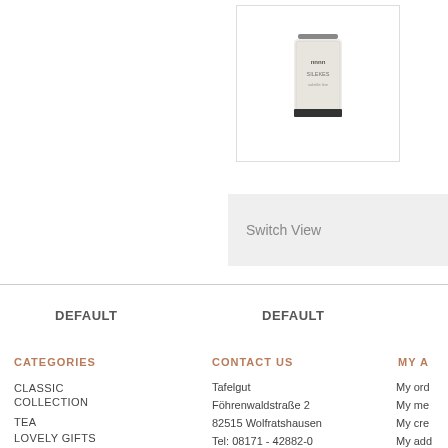[Figure (photo): Product bottle image (candle or similar jar product with label) in a white bordered box]
Switch View
DEFAULT
DEFAULT
CATEGORIES
CLASSIC COLLECTION
TEA
LOVELY GIFTS
CONFECTIONERY
CONTACT US
Tafelgut
Föhrenwaldstraße 2
82515 Wolfratshausen
Tel: 08171 - 42882-0
Email: shop@tafelgut.de
MY A
My ord
My me
My cre
My add